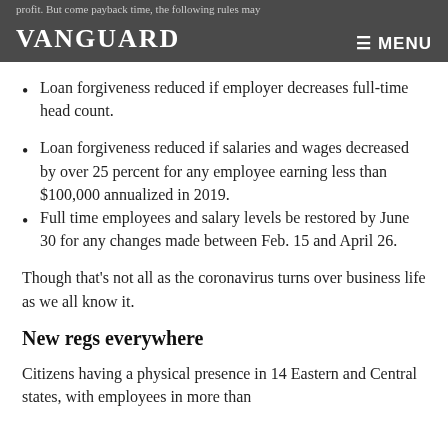profit. But come payback time, the following rules may a...
Loan forgiveness reduced if employer decreases full-time head count.
Loan forgiveness reduced if salaries and wages decreased by over 25 percent for any employee earning less than $100,000 annualized in 2019.
Full time employees and salary levels be restored by June 30 for any changes made between Feb. 15 and April 26.
Though that's not all as the coronavirus turns over business life as we all know it.
New regs everywhere
Citizens having a physical presence in 14 Eastern and Central states, with employees in more than